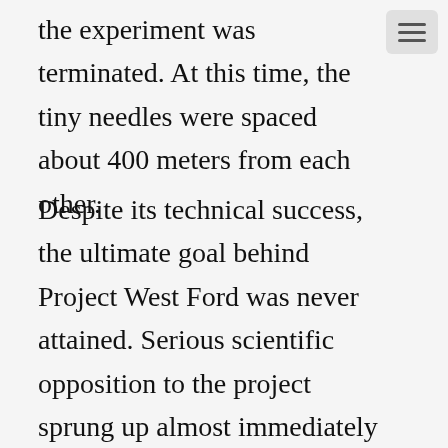the experiment was terminated. At this time, the tiny needles were spaced about 400 meters from each other.
Despite its technical success, the ultimate goal behind Project West Ford was never attained. Serious scientific opposition to the project sprung up almost immediately after it was first proposed in the late 1950s. Though West Ford's cloud of dipoles was carefully designed to return to Earth within a few years of its launch, a fully-functional cloud dense enough for robust